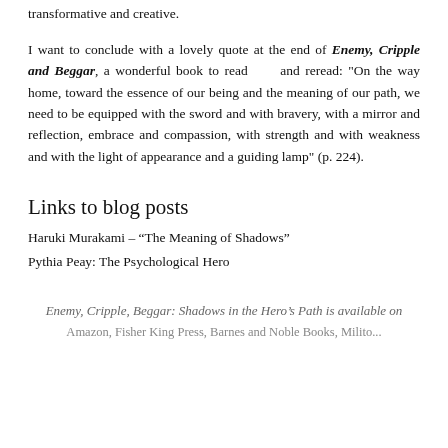transformative and creative.
I want to conclude with a lovely quote at the end of Enemy, Cripple and Beggar, a wonderful book to read and reread: "On the way home, toward the essence of our being and the meaning of our path, we need to be equipped with the sword and with bravery, with a mirror and reflection, embrace and compassion, with strength and with weakness and with the light of appearance and a guiding lamp" (p. 224).
Links to blog posts
Haruki Murakami – “The Meaning of Shadows”
Pythia Peay: The Psychological Hero
Enemy, Cripple, Beggar: Shadows in the Hero’s Path is available on
Amazon, Fisher King Press, Barnes and Noble Books, Milito...